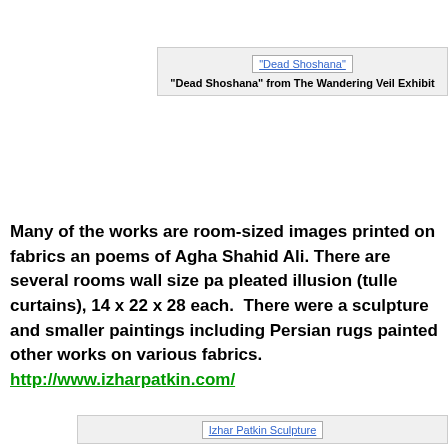[Figure (other): Broken image placeholder labeled 'Dead Shoshana' with caption below]
“Dead Shoshana” from The Wandering Veil Exhibit
Many of the works are room-sized images printed on fabrics and poems of Agha Shahid Ali. There are several rooms wall size pa pleated illusion (tulle curtains), 14 x 22 x 28 each. There were a sculpture and smaller paintings including Persian rugs painted other works on various fabrics. http://www.izharpatkin.com/
[Figure (other): Broken image placeholder labeled 'Izhar Patkin Sculpture']